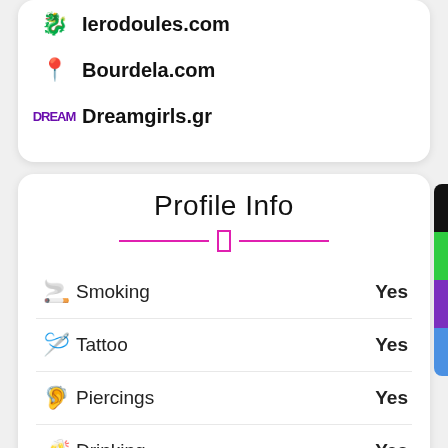Ierodoules.com
Bourdela.com
Dreamgirls.gr
Profile Info
| Attribute | Value |
| --- | --- |
| Smoking | Yes |
| Tattoo | Yes |
| Piercings | Yes |
| Drinking | Yes |
| Party | Yes |